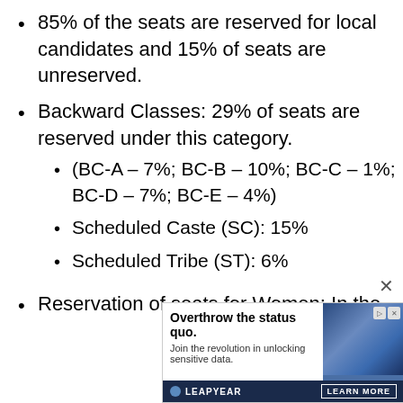85% of the seats are reserved for local candidates and 15% of seats are unreserved.
Backward Classes: 29% of seats are reserved under this category.
(BC-A – 7%; BC-B – 10%; BC-C – 1%; BC-D – 7%; BC-E – 4%)
Scheduled Caste (SC): 15%
Scheduled Tribe (ST): 6%
Reservation of seats for Women: In the
[Figure (screenshot): Advertisement banner: 'Overthrow the status quo. Join the revolution in unlocking sensitive data.' by LEAPYEAR with LEARN MORE button and chain imagery.]